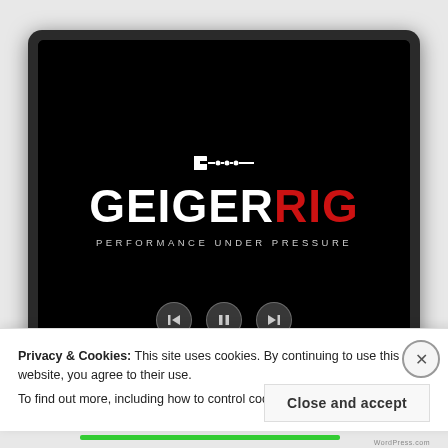[Figure (screenshot): Screenshot of a laptop/tablet display showing the GEIGERRIG logo on a black background with the tagline 'PERFORMANCE UNDER PRESSURE' and media player controls (back, pause, forward buttons) at the bottom.]
Privacy & Cookies: This site uses cookies. By continuing to use this website, you agree to their use.
To find out more, including how to control cookies, see here: Cookie Policy
Close and accept